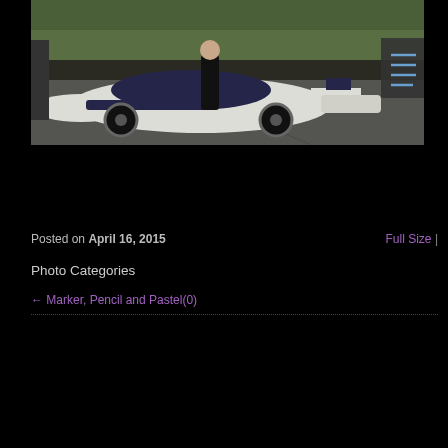[Figure (photo): Photograph of a white racing car (prototype/Le Mans style) parked on asphalt with a person leaning over it. Background shows green trees/shrubs. Photo is cropped at the top.]
Posted on April 16, 2015
Full Size |
Photo Categories
← Marker, Pencil and Pastel(0)